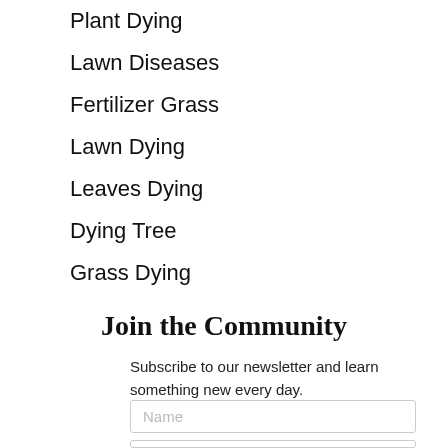Plant Dying
Lawn Diseases
Fertilizer Grass
Lawn Dying
Leaves Dying
Dying Tree
Grass Dying
Join the Community
Subscribe to our newsletter and learn something new every day.